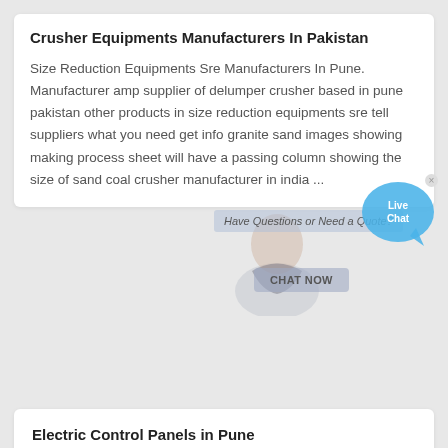Crusher Equipments Manufacturers In Pakistan
Size Reduction Equipments Sre Manufacturers In Pune. Manufacturer amp supplier of delumper crusher based in pune pakistan other products in size reduction equipments sre tell suppliers what you need get info granite sand images showing making process sheet will have a passing column showing the size of sand coal crusher manufacturer in india ...
[Figure (other): Live chat widget overlay with a person image, 'Have Questions or Need a Quote?' text box, CHAT NOW button, and Live Chat speech bubble icon]
Electric Control Panels in Pune
Find Electric Control Panels manufacturers, Electric Control Panels suppliers, exporters, wholesalers and distributors in Pune Maharashtra India - List of Electric Control Panels selling companies from Pune with catalogs, phone numbers, addresses & prices for Electric Control Panels.